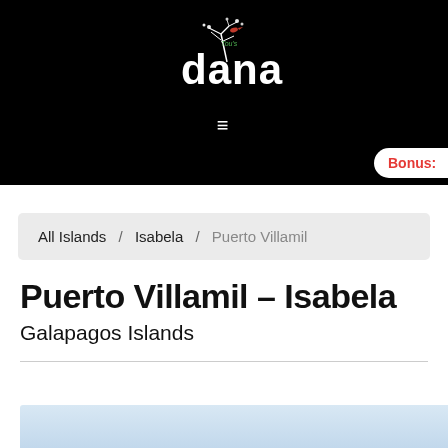[Figure (logo): Dana Tours logo — white stylized tree/bird illustration above the text 'dana' in large white letters, with small red 'Tou's' text above]
≡
Bonus:
All Islands / Isabela / Puerto Villamil
Puerto Villamil – Isabela
Galapagos Islands
[Figure (photo): Partial photo at bottom — light blue/grey sky or water background, cropped]